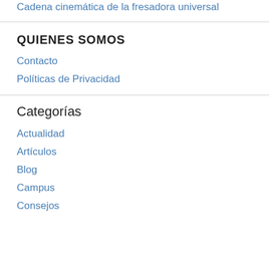Cadena cinemática de la fresadora universal
QUIENES SOMOS
Contacto
Políticas de Privacidad
Categorías
Actualidad
Artículos
Blog
Campus
Consejos